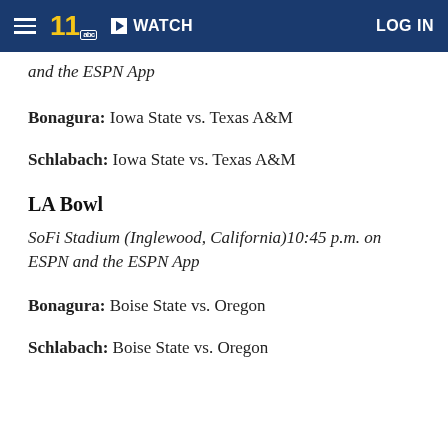WATCH | LOG IN
and the ESPN App
Bonagura: Iowa State vs. Texas A&M
Schlabach: Iowa State vs. Texas A&M
LA Bowl
SoFi Stadium (Inglewood, California)10:45 p.m. on ESPN and the ESPN App
Bonagura: Boise State vs. Oregon
Schlabach: Boise State vs. Oregon